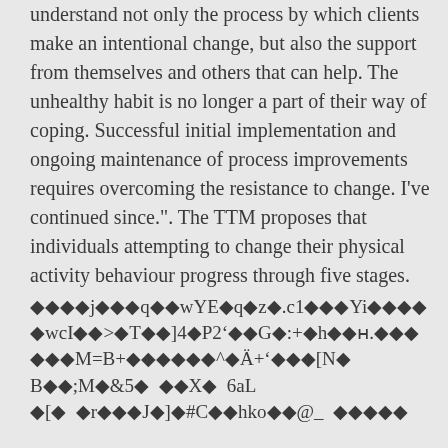understand not only the process by which clients make an intentional change, but also the support from themselves and others that can help. The unhealthy habit is no longer a part of their way of coping. Successful initial implementation and ongoing maintenance of process improvements requires overcoming the resistance to change. I've continued since.". The TTM proposes that individuals attempting to change their physical activity behaviour progress through five stages.
◆◆◆◆j◆◆◆q◆◆wYE◆q◆z◆.c1◆◆◆Yi◆◆◆◆ ◆wcI◆◆>◆T◆◆]4◆P2'◆◆G◆:◆◆h◆◆ʟ.◆◆◆ ◆◆◆M=B+◆◆◆◆◆◆^◆Ä+'◆◆◆[N◆ B◆◆;M◆&5◆  ◆◆X◆  6aL ◆[◆  ◆r◆◆◆J◆]◆#C◆◆hko◆◆@_  ◆◆◆◆◆